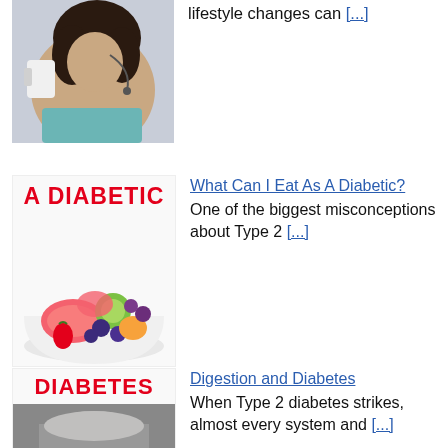[Figure (photo): Partial view of a woman drinking from a cup with earphones, article thumbnail]
lifestyle changes can [...]
[Figure (photo): Thumbnail image with bold red text 'A DIABETIC' and a bowl of colorful fresh fruit below]
What Can I Eat As A Diabetic?
One of the biggest misconceptions about Type 2 [...]
[Figure (photo): Thumbnail with bold red text 'DIABETES' and a black and white photo of a person's midsection below]
Digestion and Diabetes
When Type 2 diabetes strikes, almost every system and [...]